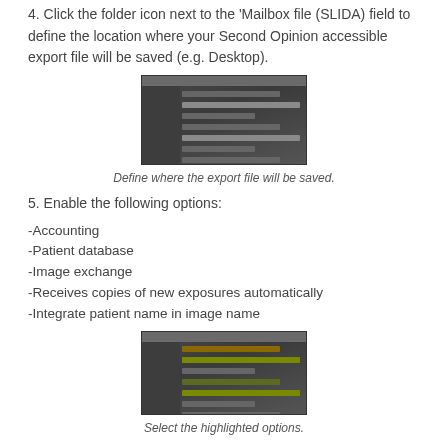4. Click the folder icon next to the 'Mailbox file (SLIDA) field to define the location where your Second Opinion accessible export file will be saved (e.g. Desktop).
[Figure (screenshot): Screenshot of a dark-themed application dialog for defining export file save location]
Define where the export file will be saved.
5. Enable the following options:
-Accounting
-Patient database
-Image exchange
-Receives copies of new exposures automatically
-Integrate patient name in image name
[Figure (screenshot): Screenshot of a dark-themed application dialog showing highlighted option checkboxes]
Select the highlighted options.